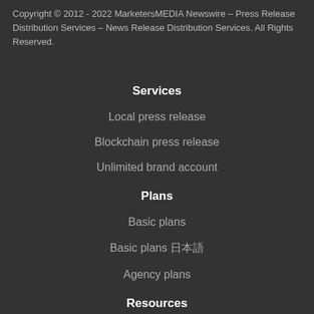Copyright © 2012 - 2022 MarketersMEDIA Newswire – Press Release Distribution Services – News Release Distribution Services. All Rights Reserved.
Services
Local press release
Blockchain press release
Unlimited brand account
Plans
Basic plans
Basic plans 日本語
Agency plans
Resources